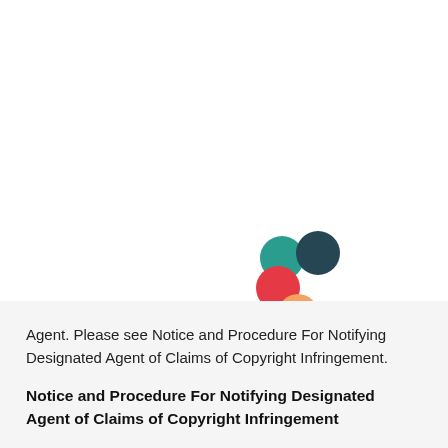[Figure (logo): Four colored circles arranged in a cluster: teal circle top-left, dark navy circle top-right, red circle bottom-left, orange circle bottom-center. Resembles a brand logo.]
Agent. Please see Notice and Procedure For Notifying Designated Agent of Claims of Copyright Infringement.
Notice and Procedure For Notifying Designated Agent of Claims of Copyright Infringement